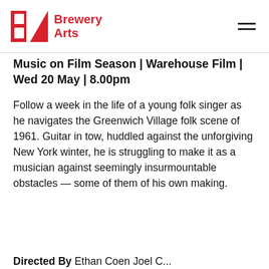Brewery Arts
Music on Film Season | Warehouse Film | Wed 20 May | 8.00pm
Follow a week in the life of a young folk singer as he navigates the Greenwich Village folk scene of 1961. Guitar in tow, huddled against the unforgiving New York winter, he is struggling to make it as a musician against seemingly insurmountable obstacles — some of them of his own making.
Directed By Ethan Coen Joel C...